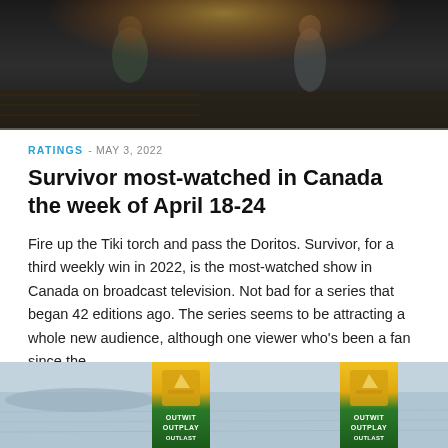[Figure (photo): Dark atmospheric photo of people (Survivor contestants) with torches or equipment in a dim outdoor setting]
RATINGS - MAY 3, 2022
Survivor most-watched in Canada the week of April 18-24
Fire up the Tiki torch and pass the Doritos. Survivor, for a third weekly win in 2022, is the most-watched show in Canada on broadcast television. Not bad for a series that began 42 editions ago. The series seems to be attracting a whole new audience, although one viewer who's been a fan since the
[Figure (photo): Survivor Outwit Outplay banners visible at beach/water setting]